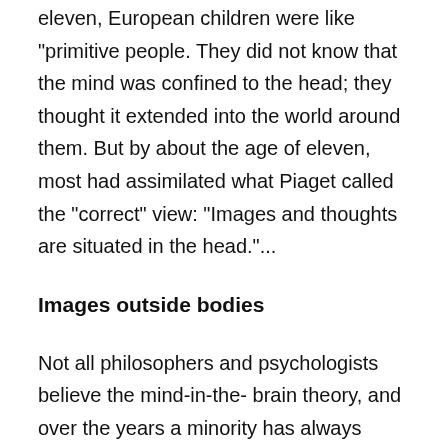eleven, European children were like "primitive people. They did not know that the mind was confined to the head; they thought it extended into the world around them. But by about the age of eleven, most had assimilated what Piaget called the "correct" view: "Images and thoughts are situated in the head."...
Images outside bodies
Not all philosophers and psychologists believe the mind-in-the- brain theory, and over the years a minority has always recognized that our perceptions may be just where they seem to be, in the external world outside our heads, rather than representations inside our brains. In